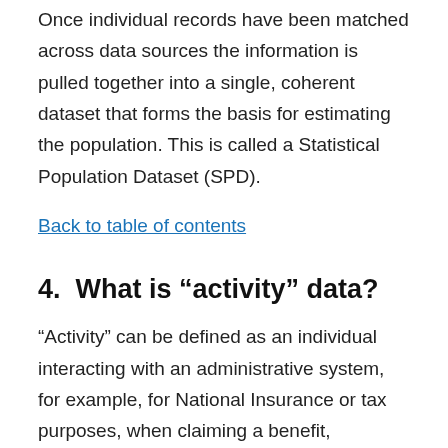Once individual records have been matched across data sources the information is pulled together into a single, coherent dataset that forms the basis for estimating the population. This is called a Statistical Population Dataset (SPD).
Back to table of contents
4.  What is “activity” data?
“Activity” can be defined as an individual interacting with an administrative system, for example, for National Insurance or tax purposes, when claiming a benefit, attending hospital appointments or updating information on government systems in some other